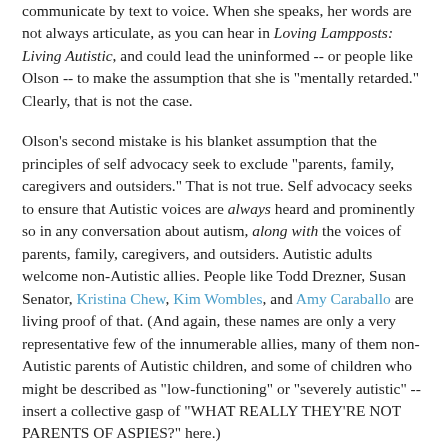communicate by text to voice. When she speaks, her words are not always articulate, as you can hear in Loving Lampposts: Living Autistic, and could lead the uninformed -- or people like Olson -- to make the assumption that she is "mentally retarded." Clearly, that is not the case.
Olson's second mistake is his blanket assumption that the principles of self advocacy seek to exclude "parents, family, caregivers and outsiders." That is not true. Self advocacy seeks to ensure that Autistic voices are always heard and prominently so in any conversation about autism, along with the voices of parents, family, caregivers, and outsiders. Autistic adults welcome non-Autistic allies. People like Todd Drezner, Susan Senator, Kristina Chew, Kim Wombles, and Amy Caraballo are living proof of that. (And again, these names are only a very representative few of the innumerable allies, many of them non-Autistic parents of Autistic children, and some of children who might be described as "low-functioning" or "severely autistic" -- insert a collective gasp of "WHAT REALLY THEY'RE NOT PARENTS OF ASPIES?" here.)
The principles of self advocacy are not that only disabled people speak, but disabled people lead, that they contribute with their...